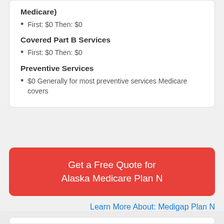Medicare)
First: $0 Then: $0
Covered Part B Services
First: $0 Then: $0
Preventive Services
$0 Generally for most preventive services Medicare covers
Get a Free Quote for Alaska Medicare Plan N
Learn More About: Medigap Plan N